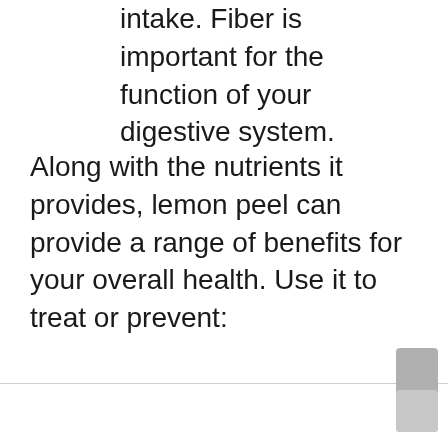intake. Fiber is important for the function of your digestive system.
Along with the nutrients it provides, lemon peel can provide a range of benefits for your overall health. Use it to treat or prevent: